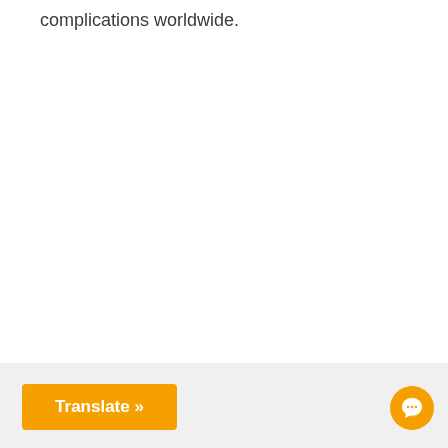complications worldwide.
Translate »